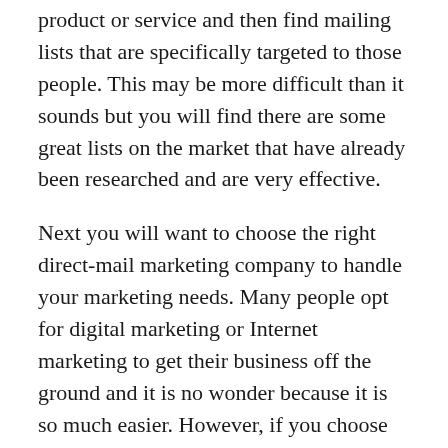product or service and then find mailing lists that are specifically targeted to those people. This may be more difficult than it sounds but you will find there are some great lists on the market that have already been researched and are very effective.
Next you will want to choose the right direct-mail marketing company to handle your marketing needs. Many people opt for digital marketing or Internet marketing to get their business off the ground and it is no wonder because it is so much easier. However, if you choose to work with a local direct-mail company you can build your business relationships and know that you will be reaching your target audience. When working with a digital marketing company, you may also be able to choose from a variety of digital marketing tools including PPC and pay-per-click advertising